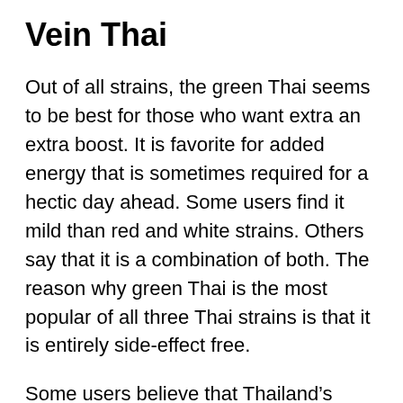Vein Thai
Out of all strains, the green Thai seems to be best for those who want extra an extra boost. It is favorite for added energy that is sometimes required for a hectic day ahead. Some users find it mild than red and white strains. Others say that it is a combination of both. The reason why green Thai is the most popular of all three Thai strains is that it is entirely side-effect free.
Some users believe that Thailand’s alkaloid rich soil makes Thai strains the most powerful and famous in the market.